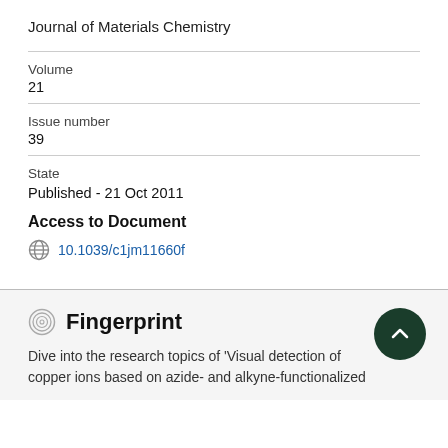Journal of Materials Chemistry
Volume
21
Issue number
39
State
Published - 21 Oct 2011
Access to Document
10.1039/c1jm11660f
Fingerprint
Dive into the research topics of 'Visual detection of copper ions based on azide- and alkyne-functionalized